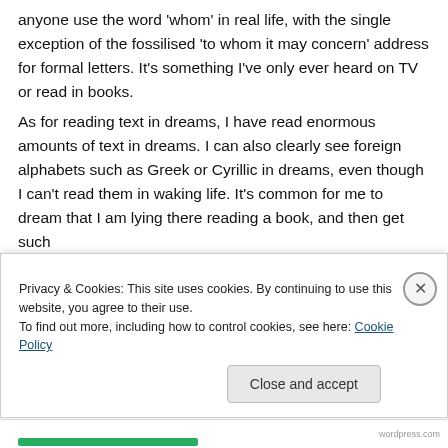anyone use the word 'whom' in real life, with the single exception of the fossilised 'to whom it may concern' address for formal letters. It's something I've only ever heard on TV or read in books.

As for reading text in dreams, I have read enormous amounts of text in dreams. I can also clearly see foreign alphabets such as Greek or Cyrillic in dreams, even though I can't read them in waking life. It's common for me to dream that I am lying there reading a book, and then get such
Privacy & Cookies: This site uses cookies. By continuing to use this website, you agree to their use.
To find out more, including how to control cookies, see here: Cookie Policy
Close and accept